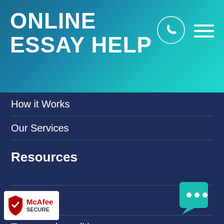ONLINE ESSAY HELP
How it Works
Our Services
Resources
Terms
Terms and conditions
Our Guarantees
Money-Back Guarantee
Free revision policy
…iarism guarantee
[Figure (logo): McAfee SECURE badge with shield logo]
[Figure (illustration): Teal chat bubble with three dots icon in bottom right corner]